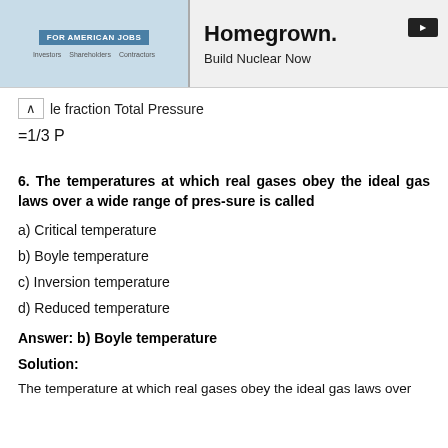FOR AMERICAN JOBS | Homegrown. Build Nuclear Now
ole fraction Total Pressure
6. The temperatures at which real gases obey the ideal gas laws over a wide range of pres-sure is called
a) Critical temperature
b) Boyle temperature
c) Inversion temperature
d) Reduced temperature
Answer: b) Boyle temperature
Solution:
The temperature at which real gases obey the ideal gas laws over